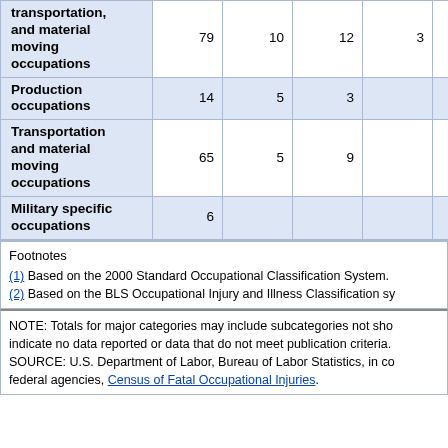| Occupation | Col1 | Col2 | Col3 | Col4 | Col5 |
| --- | --- | --- | --- | --- | --- |
| transportation, and material moving occupations | 79 | 10 | 12 | 3 |  |
| Production occupations | 14 | 5 | 3 |  |  |
| Transportation and material moving occupations | 65 | 5 | 9 |  |  |
| Military specific occupations | 6 |  |  |  |  |
Footnotes
(1) Based on the 2000 Standard Occupational Classification System.
(2) Based on the BLS Occupational Injury and Illness Classification sy...
NOTE: Totals for major categories may include subcategories not shown; indicate no data reported or data that do not meet publication criteria. SOURCE: U.S. Department of Labor, Bureau of Labor Statistics, in co... federal agencies, Census of Fatal Occupational Injuries.